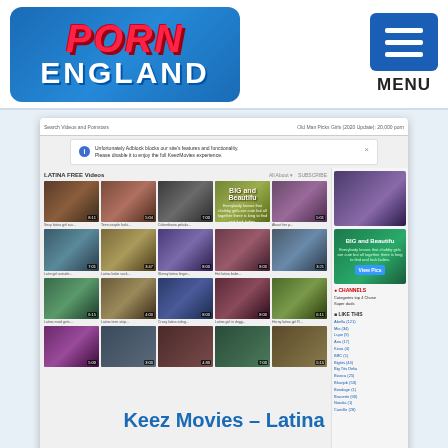[Figure (logo): Porn England website logo with red stylized text on blue background]
[Figure (screenshot): Screenshot of Keez Movies Latina category page showing video thumbnails grid with adblock notice, sidebar advertisements, and category/tag listings]
Keez Movies – Latina